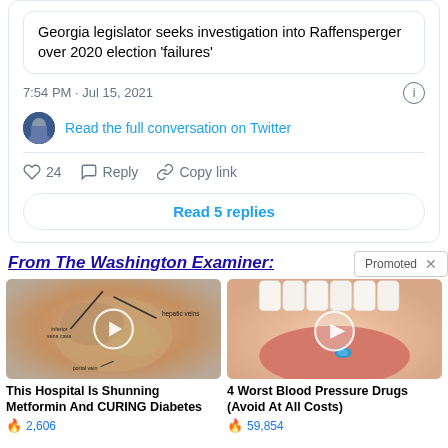Georgia legislator seeks investigation into Raffensperger over 2020 election 'failures'
7:54 PM · Jul 15, 2021
Read the full conversation on Twitter
24   Reply   Copy link
Read 5 replies
From The Washington Examiner:
Promoted  ×
[Figure (photo): Medical illustration of a joint or organ with labeled anatomy, with a play button overlay]
This Hospital Is Shunning Metformin And CURING Diabetes
🔥 2,606
[Figure (photo): Close-up photo of a mouth with tongue out and a small blue pill, with a play button overlay]
4 Worst Blood Pressure Drugs (Avoid At All Costs)
🔥 59,854